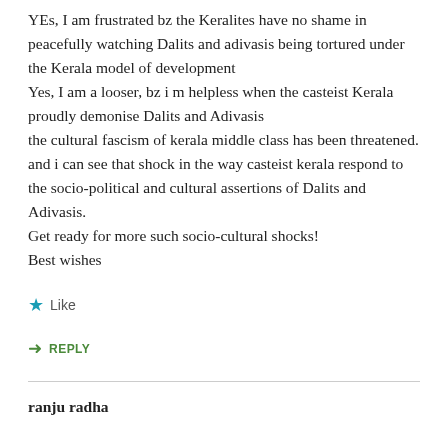YEs, I am frustrated bz the Keralites have no shame in peacefully watching Dalits and adivasis being tortured under the Kerala model of development
Yes, I am a looser, bz i m helpless when the casteist Kerala proudly demonise Dalits and Adivasis
the cultural fascism of kerala middle class has been threatened.
and i can see that shock in the way casteist kerala respond to the socio-political and cultural assertions of Dalits and Adivasis.
Get ready for more such socio-cultural shocks!
Best wishes
★ Like
➜ REPLY
ranju radha